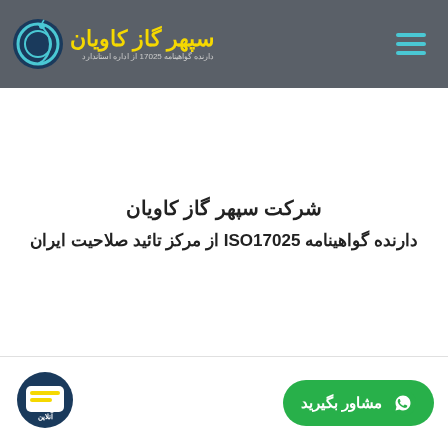سپهر گاز کاویان - دارنده گواهینامه 17025 از اداره استاندارد
شرکت سپهر گاز کاویان
دارنده گواهینامه ISO17025 از مرکز تائید صلاحیت ایران
مشاور بگیرید - گفتگوی آنلاین